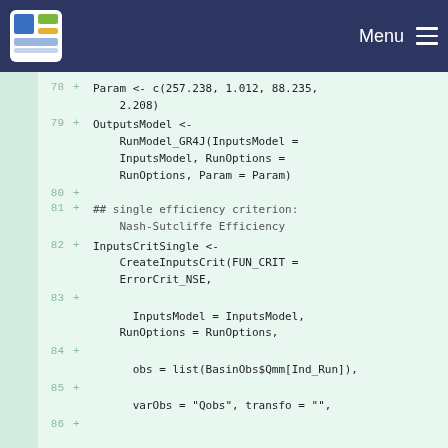[Figure (screenshot): Navigation header bar with logo and Menu button on dark blue background]
78 + Param <- c(257.238, 1.012, 88.235,
    2.208)
79 + OutputsModel <-
    RunModel_GR4J(InputsModel =
    InputsModel, RunOptions =
    RunOptions, Param = Param)
80 +
81 + ## single efficiency criterion: Nash-Sutcliffe Efficiency
82 + InputsCritSingle <-
    CreateInputsCrit(FUN_CRIT =
    ErrorCrit_NSE,
83 +
      InputsModel = InputsModel,
    RunOptions = RunOptions,
84 +
      obs = list(BasinObs$Qmm[Ind_Run]),
85 +
      varObs = "Qobs", transfo = "",
86 +